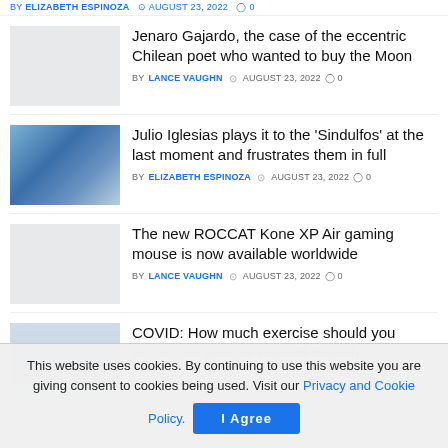BY ELIZABETH ESPINOZA · AUGUST 23, 2022 · 0
Jenaro Gajardo, the case of the eccentric Chilean poet who wanted to buy the Moon
BY LANCE VAUGHN · AUGUST 23, 2022 · 0
[Figure (photo): Group of people on stage with blue lighting]
Julio Iglesias plays it to the 'Sindulfos' at the last moment and frustrates them in full
BY ELIZABETH ESPINOZA · AUGUST 23, 2022 · 0
[Figure (photo): Light gray placeholder thumbnail]
The new ROCCAT Kone XP Air gaming mouse is now available worldwide
BY LANCE VAUGHN · AUGUST 23, 2022 · 0
[Figure (photo): Partial view of COVID article thumbnail]
COVID: How much exercise should you practice to protect yourself from the
This website uses cookies. By continuing to use this website you are giving consent to cookies being used. Visit our Privacy and Cookie Policy.
I Agree